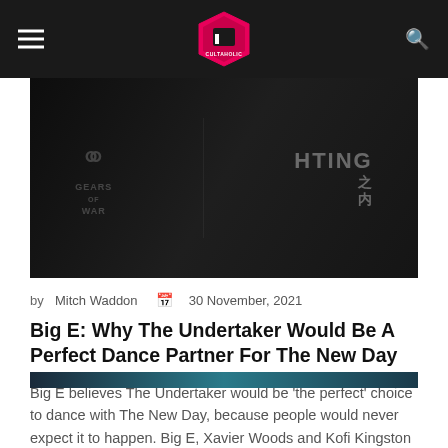Cultaholic
[Figure (photo): Dark hero image showing people wearing wrestling/gaming shirts including a Gears of War shirt and another shirt with Asian characters]
by Mitch Waddon  30 November, 2021
Big E: Why The Undertaker Would Be A Perfect Dance Partner For The New Day
Big E believes The Undertaker would be 'the perfect' choice to dance with The New Day, because people would never expect it to happen. Big E, Xavier Woods and Kofi Kingston have convinced some of...